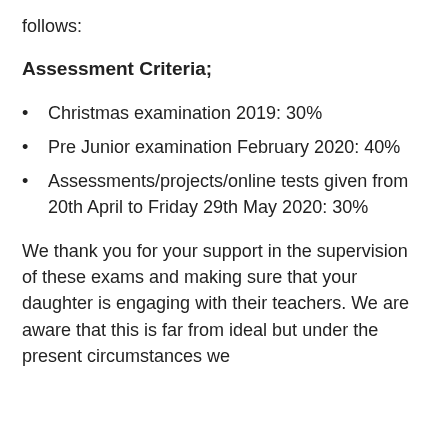follows:
Assessment Criteria;
Christmas examination 2019: 30%
Pre Junior examination February 2020: 40%
Assessments/projects/online tests given from 20th April to Friday 29th May 2020: 30%
We thank you for your support in the supervision of these exams and making sure that your daughter is engaging with their teachers. We are aware that this is far from ideal but under the present circumstances we